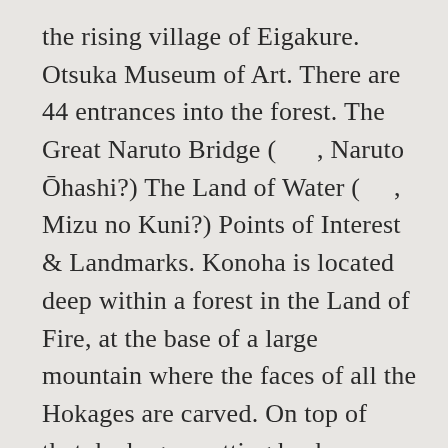the rising village of Eigakure. Otsuka Museum of Art. There are 44 entrances into the forest. The Great Naruto Bridge (      , Naruto Ōhashi?) The Land of Water (     , Mizu no Kuni?) Points of Interest & Landmarks. Konoha is located deep within a forest in the Land of Fire, at the base of a large mountain where the faces of all the Hokages are carved. On top of that, he began cutting back on Sunagakure's budget. Scattered across the Naruto universe are several countries of various sizes, cultures, power, and landscapes. is filled with a great number of small buildings in a heavily wooded area, suggesting that it might be located in a rainforest. Though very small compared to